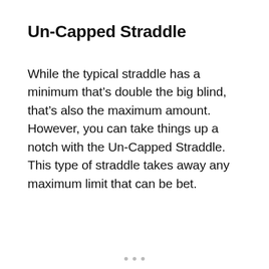Un-Capped Straddle
While the typical straddle has a minimum that's double the big blind, that's also the maximum amount. However, you can take things up a notch with the Un-Capped Straddle. This type of straddle takes away any maximum limit that can be bet.